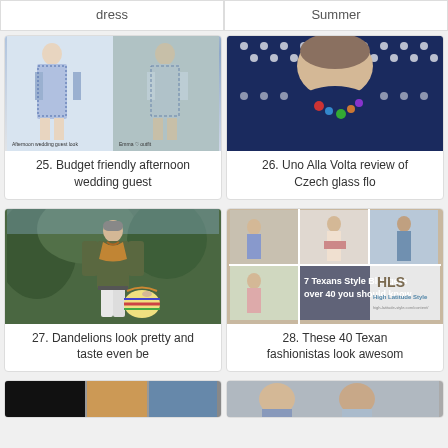dress
Summer
[Figure (photo): Two photos of women in blue and white patterned dresses - afternoon wedding guest look]
25. Budget friendly afternoon wedding guest
[Figure (photo): Close-up of woman wearing dark navy polka dot top with colorful necklace]
26. Uno Alla Volta review of Czech glass flo
[Figure (photo): Woman in olive green jacket, white pants, scarf and colorful striped bag in garden]
27. Dandelions look pretty and taste even be
[Figure (photo): Collage of 7 Texans Style Bloggers over 40 with High Latitude Style logo]
28. These 40 Texan fashionistas look awesom
[Figure (photo): Bottom partial image left]
[Figure (photo): Bottom partial image right]